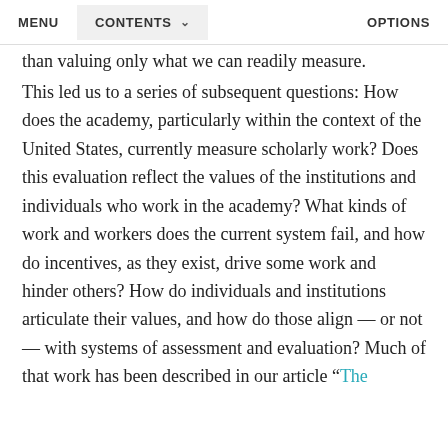MENU   CONTENTS   OPTIONS
than valuing only what we can readily measure. This led us to a series of subsequent questions: How does the academy, particularly within the context of the United States, currently measure scholarly work? Does this evaluation reflect the values of the institutions and individuals who work in the academy? What kinds of work and workers does the current system fail, and how do incentives, as they exist, drive some work and hinder others? How do individuals and institutions articulate their values, and how do those align — or not — with systems of assessment and evaluation? Much of that work has been described in our article “The